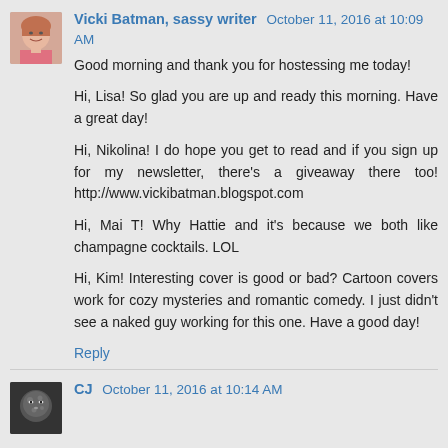[Figure (photo): Profile photo of Vicki Batman, a woman with short hair wearing a pink top]
Vicki Batman, sassy writer October 11, 2016 at 10:09 AM
Good morning and thank you for hostessing me today!

Hi, Lisa! So glad you are up and ready this morning. Have a great day!

Hi, Nikolina! I do hope you get to read and if you sign up for my newsletter, there's a giveaway there too! http://www.vickibatman.blogspot.com

Hi, Mai T! Why Hattie and it's because we both like champagne cocktails. LOL

Hi, Kim! Interesting cover is good or bad? Cartoon covers work for cozy mysteries and romantic comedy. I just didn't see a naked guy working for this one. Have a good day!
Reply
[Figure (photo): Profile photo of CJ, a dark silhouette/animal image]
CJ October 11, 2016 at 10:14 AM